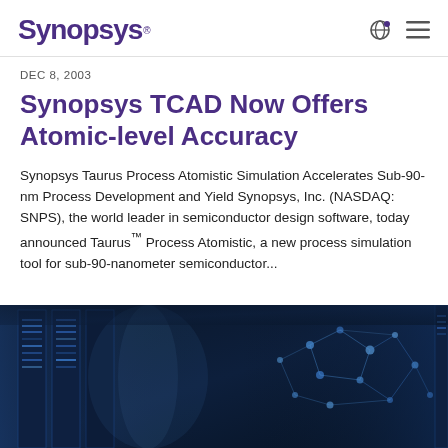SYNOPSYS
DEC 8, 2003
Synopsys TCAD Now Offers Atomic-level Accuracy
Synopsys Taurus Process Atomistic Simulation Accelerates Sub-90-nm Process Development and Yield Synopsys, Inc. (NASDAQ: SNPS), the world leader in semiconductor design software, today announced Taurus™ Process Atomistic, a new process simulation tool for sub-90-nanometer semiconductor...
[Figure (photo): Data center and technology background image showing server racks and molecular/network structure]